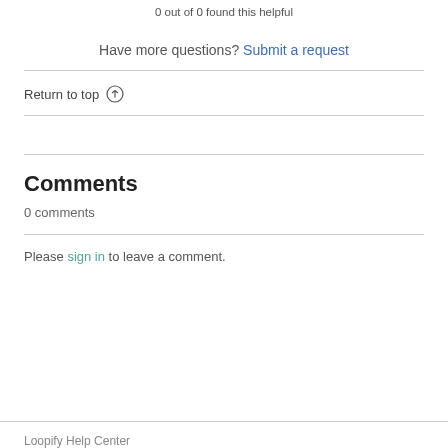0 out of 0 found this helpful
Have more questions? Submit a request
Return to top ↑
Comments
0 comments
Please sign in to leave a comment.
Loopify Help Center